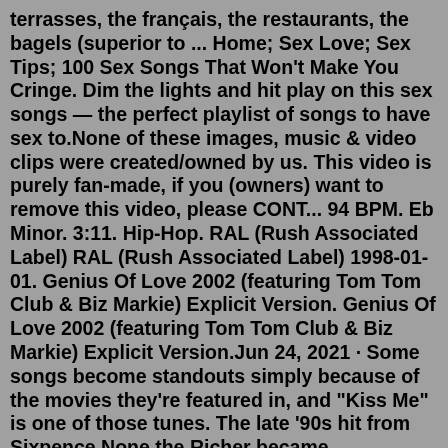terrasses, the français, the restaurants, the bagels (superior to ... Home; Sex Love; Sex Tips; 100 Sex Songs That Won't Make You Cringe. Dim the lights and hit play on this sex songs — the perfect playlist of songs to have sex to.None of these images, music & video clips were created/owned by us. This video is purely fan-made, if you (owners) want to remove this video, please CONT... 94 BPM. Eb Minor. 3:11. Hip-Hop. RAL (Rush Associated Label) RAL (Rush Associated Label) 1998-01-01. Genius Of Love 2002 (featuring Tom Tom Club & Biz Markie) Explicit Version. Genius Of Love 2002 (featuring Tom Tom Club & Biz Markie) Explicit Version.Jun 24, 2021 · Some songs become standouts simply because of the movies they're featured in, and "Kiss Me" is one of those tunes. The late '90s hit from Sixpence None the Richer became synonymous with romance after it appeared in the Freddie Prinze Jr.-led romcom, She's All That, and honestly—as much as we love Prinze Jr.'s onscreen chemistry with Rachel Leigh Cook—the li...